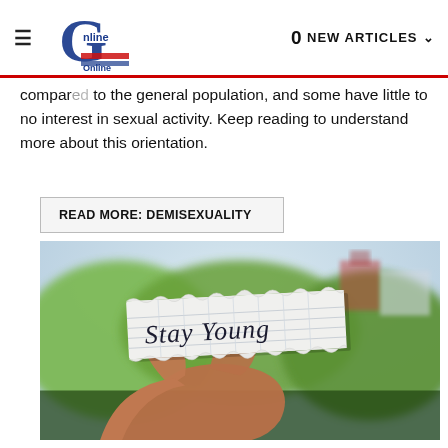≡  [Logo: G Online] | 0 NEW ARTICLES ▾
compared to the general population, and some have little to no interest in sexual activity. Keep reading to understand more about this orientation.
READ MORE: DEMISEXUALITY
[Figure (photo): A hand with dark red nail polish holding a torn piece of notebook paper with the handwritten text 'Stay Young', with a blurred outdoor background of green trees and buildings.]